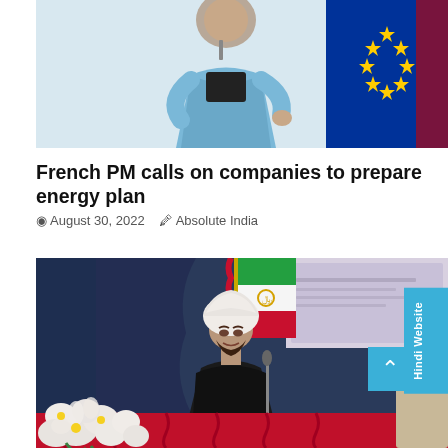[Figure (photo): A person in a light blue jacket speaking, with the EU flag visible in the background. The image is cropped showing the upper portion.]
French PM calls on companies to prepare energy plan
August 30, 2022  Absolute India
[Figure (photo): A man in a white turban and dark clothing seated at a table with a red cloth, white flowers in front, and an Iranian flag in the background. A projector screen is visible behind him.]